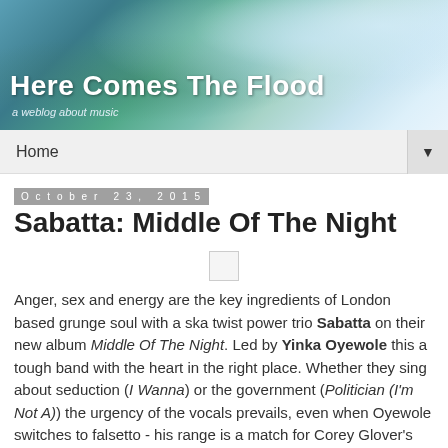[Figure (illustration): Blog header banner with teal/blue/green ocean or abstract wave imagery. Title 'Here Comes The Flood' in bold white text with subtitle 'a weblog about music' below.]
Home
October 23, 2015
Sabatta: Middle Of The Night
[Figure (other): Small placeholder/broken image thumbnail]
Anger, sex and energy are the key ingredients of London based grunge soul with a ska twist power trio Sabatta on their new album Middle Of The Night. Led by Yinka Oyewole this a tough band with the heart in the right place. Whether they sing about seduction (I Wanna) or the government (Politician (I'm Not A)) the urgency of the vocals prevails, even when Oyewole switches to falsetto - his range is a match for Corey Glover's finest work with Living Colour